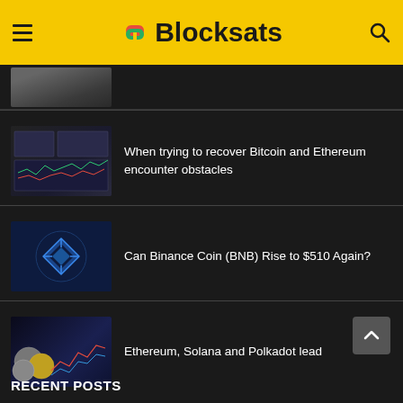Blocksats
[Figure (photo): Partially visible person thumbnail at top]
[Figure (photo): Trading screens and phone showing charts]
When trying to recover Bitcoin and Ethereum encounter obstacles
[Figure (photo): Binance Coin BNB logo on dark blue background]
Can Binance Coin (BNB) Rise to $510 Again?
[Figure (photo): Ethereum coins and price charts]
Ethereum, Solana and Polkadot lead
RECENT POSTS